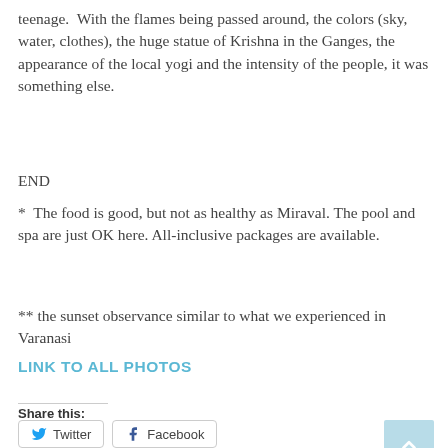teenage.  With the flames being passed around, the colors (sky, water, clothes), the huge statue of Krishna in the Ganges, the appearance of the local yogi and the intensity of the people, it was something else.
END
*  The food is good, but not as healthy as Miraval. The pool and spa are just OK here. All-inclusive packages are available.
** the sunset observance similar to what we experienced in Varanasi
LINK TO ALL PHOTOS
Share this:
Twitter
Facebook
Like this: